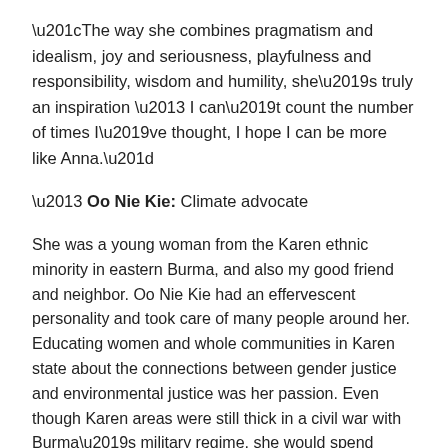“The way she combines pragmatism and idealism, joy and seriousness, playfulness and responsibility, wisdom and humility, she’s truly an inspiration – I can’t count the number of times I’ve thought, I hope I can be more like Anna.”
– Oo Nie Kie: Climate advocate
She was a young woman from the Karen ethnic minority in eastern Burma, and also my good friend and neighbor. Oo Nie Kie had an effervescent personality and took care of many people around her. Educating women and whole communities in Karen state about the connections between gender justice and environmental justice was her passion. Even though Karen areas were still thick in a civil war with Burma’s military regime, she would spend weeks in villages at a time running training programs. I recorded this little